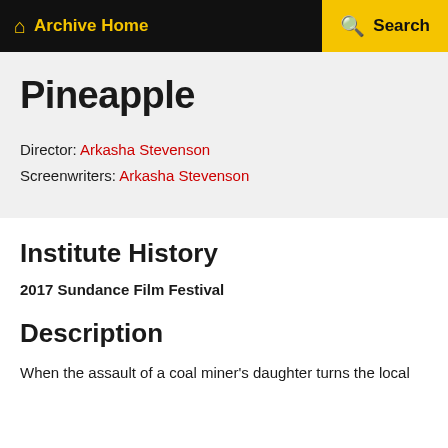Archive Home  Search
Pineapple
Director: Arkasha Stevenson
Screenwriters: Arkasha Stevenson
Institute History
2017 Sundance Film Festival
Description
When the assault of a coal miner's daughter turns the local